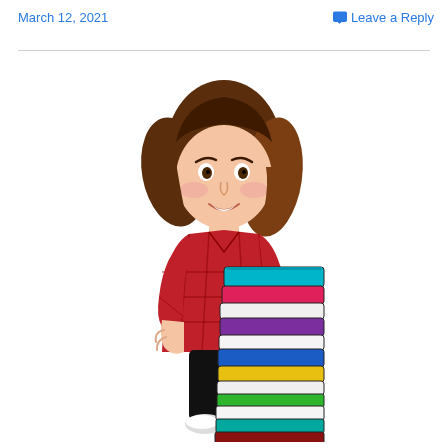March 12, 2021    Leave a Reply
[Figure (illustration): Bitmoji cartoon illustration of a young woman with curly brown hair wearing a red plaid flannel shirt and black pants, carrying a tall stack of colorful books]